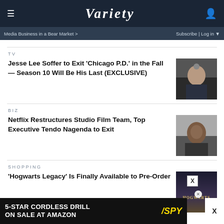VARIETY
Media Business in a Bear Market >    Subscribe | Log in ▼
TV
Jesse Lee Soffer to Exit 'Chicago P.D.' in the Fall — Season 10 Will Be His Last (EXCLUSIVE)
[Figure (photo): Headshot of a man in a police uniform, Chicago P.D.]
BIZ
Netflix Restructures Studio Film Team, Top Executive Tendo Nagenda to Exit
[Figure (photo): Headshot of Tendo Nagenda smiling, in a blazer]
SHOPPING
'Hogwarts Legacy' Is Finally Available to Pre-Order
[Figure (photo): Hogwarts Legacy book cover with castle and HOGWARTS text]
5-STAR CORDLESS DRILL ON SALE AT AMAZON   /SPY